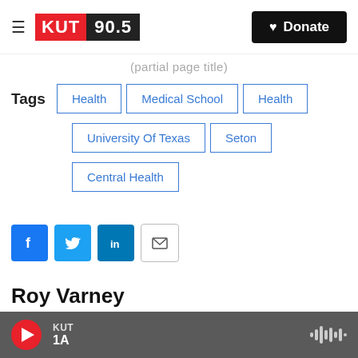KUT 90.5 — Donate
(partial title above tags)
Tags: Health, Medical School, Health, University Of Texas, Seton, Central Health
[Figure (infographic): Social sharing buttons: Facebook, Twitter, LinkedIn, Email]
Roy Varney
Roy is a second year journalism professional track
KUT | 1A — player bar with play button and audio waveform